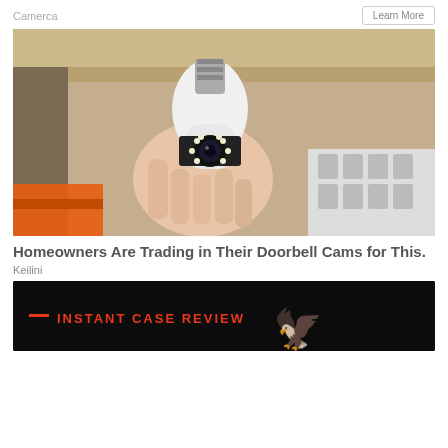Camerca    Learn More
[Figure (photo): A hand holding a white security camera shaped like a light bulb with LED lights and a lens on the front, set against a cardboard box background with orange packaging visible in the lower left.]
Homeowners Are Trading in Their Doorbell Cams for This.
Keilini
[Figure (photo): Dark banner image with a red horizontal line and bold red text 'INSTANT CASE REVIEW' on a black background with eagle imagery partially visible.]